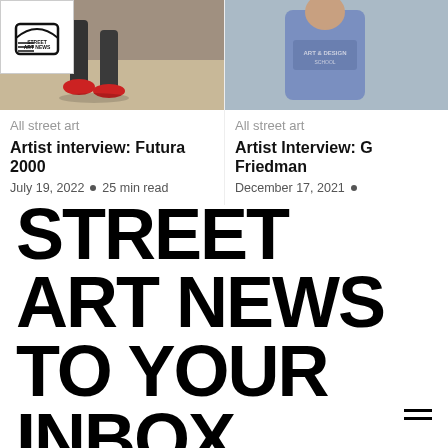[Figure (photo): Logo of Street Art News in a white box with border, top-left corner]
[Figure (photo): Photo showing legs/feet of a person wearing red sneakers on a street]
All street art
Artist interview: Futura 2000
July 19, 2022  •  25 min read
[Figure (photo): Photo of a person wearing a blue hoodie sweatshirt with art design text]
All street art
Artist Interview: G Friedman
December 17, 2021  •
STREET ART NEWS TO YOUR INBOX